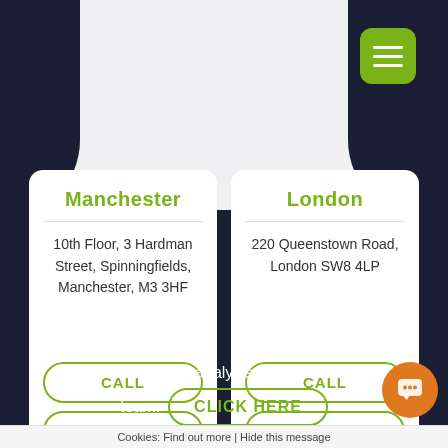[Figure (other): Hamburger menu icon button (green rounded square with three white horizontal bars)]
Manchester
10th Floor, 3 Hardman Street, Spinningfields, Manchester, M3 3HF
CALL
London
220 Queenstown Road, London SW8 4LP
CALL
Get a free website analysis from our specialist team.
CLICK HERE
Cookies: Find out more | Hide this message